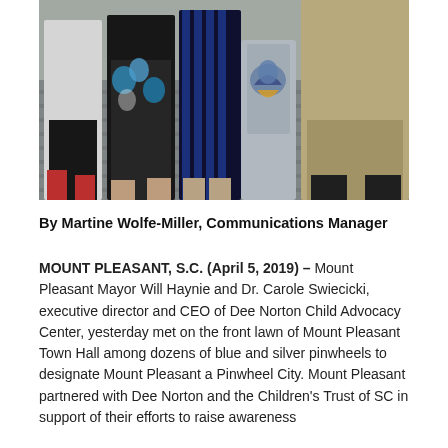[Figure (photo): Group of people standing outdoors on steps, including officials and community members at what appears to be a public event. A podium with a logo (Mount Pleasant) is visible in the center.]
By Martine Wolfe-Miller, Communications Manager
MOUNT PLEASANT, S.C. (April 5, 2019) – Mount Pleasant Mayor Will Haynie and Dr. Carole Swiecicki, executive director and CEO of Dee Norton Child Advocacy Center, yesterday met on the front lawn of Mount Pleasant Town Hall among dozens of blue and silver pinwheels to designate Mount Pleasant a Pinwheel City. Mount Pleasant partnered with Dee Norton and the Children's Trust of SC in support of their efforts to raise awareness